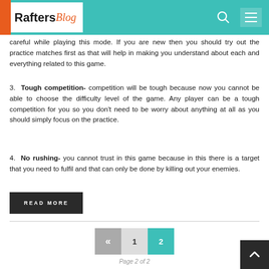Rafters Blog
careful while playing this mode. If you are new then you should try out the practice matches first as that will help in making you understand about each and everything related to this game.
3. Tough competition- competition will be tough because now you cannot be able to choose the difficulty level of the game. Any player can be a tough competition for you so you don't need to be worry about anything at all as you should simply focus on the practice.
4. No rushing- you cannot trust in this game because in this there is a target that you need to fulfil and that can only be done by killing out your enemies.
READ MORE
Page 2 of 2